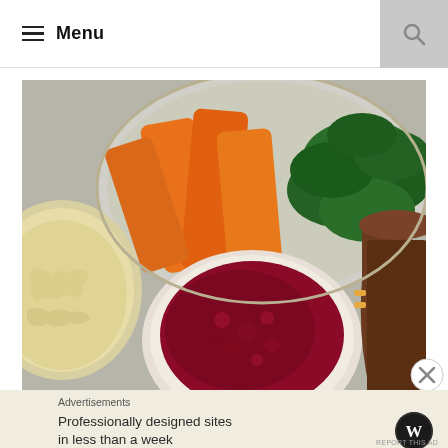Menu
[Figure (photo): Overhead view of Thanksgiving-style side dishes: a large bowl with carrots and kale, a bowl of mashed potatoes, a small bowl of cranberry sauce, and a gravy boat with brown gravy on a grey surface]
Advertisements
Professionally designed sites in less than a week